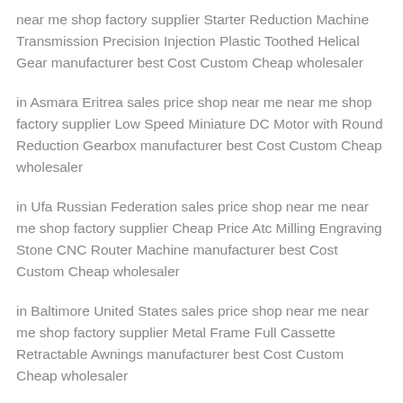near me shop factory supplier Starter Reduction Machine Transmission Precision Injection Plastic Toothed Helical Gear manufacturer best Cost Custom Cheap wholesaler
in Asmara Eritrea sales price shop near me near me shop factory supplier Low Speed Miniature DC Motor with Round Reduction Gearbox manufacturer best Cost Custom Cheap wholesaler
in Ufa Russian Federation sales price shop near me near me shop factory supplier Cheap Price Atc Milling Engraving Stone CNC Router Machine manufacturer best Cost Custom Cheap wholesaler
in Baltimore United States sales price shop near me near me shop factory supplier Metal Frame Full Cassette Retractable Awnings manufacturer best Cost Custom Cheap wholesaler
in Manchester United Kingdom sales price shop near me near me shop factory supplier Plastic Gear Rack